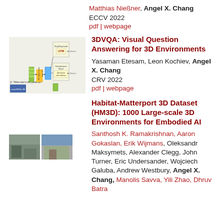Matthias Nießner, Angel X. Chang
ECCV 2022
pdf | webpage
[Figure (schematic): Architecture diagram for 3DVQA system showing encoder blocks, LSTM, and classification head]
3DVQA: Visual Question Answering for 3D Environments
Yasaman Etesam, Leon Kochiev, Angel X. Chang
CRV 2022
pdf | webpage
Habitat-Matterport 3D Dataset (HM3D): 1000 Large-scale 3D Environments for Embodied AI
[Figure (photo): Two small thumbnail photos of 3D environments from the HM3D dataset]
Santhosh K. Ramakrishnan, Aaron Gokaslan, Erik Wijmans, Oleksandr Maksymets, Alexander Clegg, John Turner, Eric Undersander, Wojciech Galuba, Andrew Westbury, Angel X. Chang, Manolis Savva, Yili Zhao, Dhruv Batra